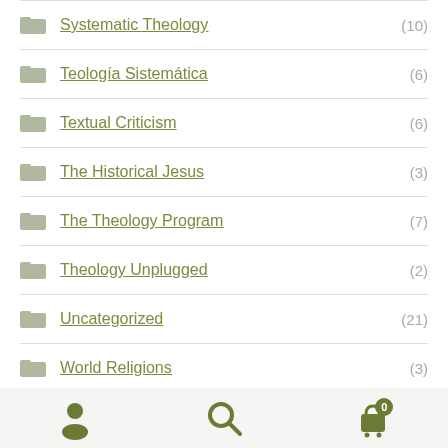Systematic Theology (10)
Teología Sistemática (6)
Textual Criticism (6)
The Historical Jesus (3)
The Theology Program (7)
Theology Unplugged (2)
Uncategorized (21)
World Religions (3)
Z - Audio Downloads (49)